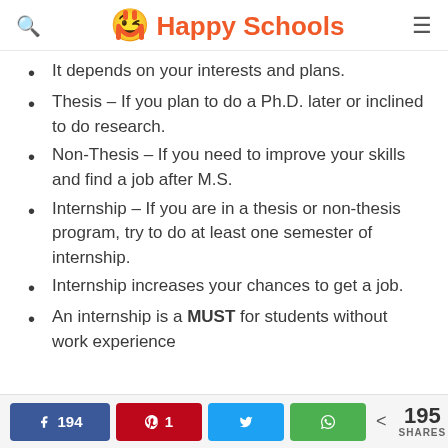Happy Schools
It depends on your interests and plans.
Thesis – If you plan to do a Ph.D. later or inclined to do research.
Non-Thesis – If you need to improve your skills and find a job after M.S.
Internship – If you are in a thesis or non-thesis program, try to do at least one semester of internship.
Internship increases your chances to get a job.
An internship is a MUST for students without work experience
194  1  195 SHARES